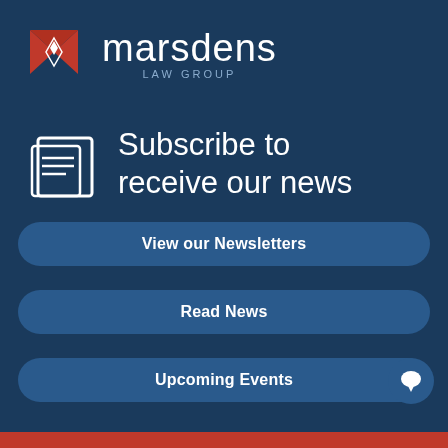[Figure (logo): Marsdens Law Group logo with red M-shaped diamond mark and white text reading 'marsdens LAW GROUP' on dark navy background]
Subscribe to receive our news
View our Newsletters
Read News
Upcoming Events